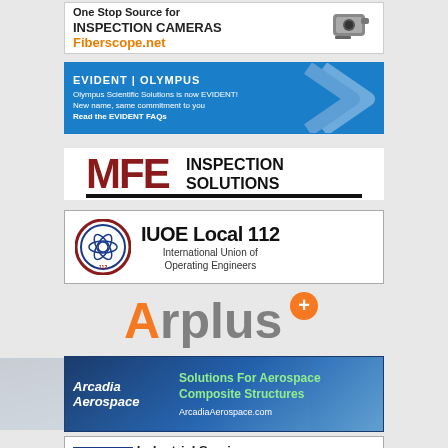[Figure (logo): Fiberscope.net ad: One Stop Source for INSPECTION CAMERAS, orange URL Fiberscope.net, camera image on right]
[Figure (logo): Evident Olympus blue banner ad: Olympus Scientific Solutions is now EVIDENT! New name, same commitment to you. Read the EVIDENT FAQs. Blue background with white chevron graphic.]
[Figure (logo): MFE Inspection Solutions logo: red MFE text with black INSPECTION SOLUTIONS text, horizontal black bar underneath]
[Figure (logo): IUOE Local 112 ad: circular seal logo on left, IUOE Local 112 text, International Union of Operating Engineers]
[Figure (logo): Applus+ logo: orange A and rplus text in gray with orange plus symbol]
[Figure (logo): Arcadia Aerospace blue gradient banner: Solutions For Aerospace Composite Structures, ArcadiaAerospace.com]
[Figure (logo): TEAM Industrial Services ad: TEAM in blue box, Industrial Services text, Service Excellence text below]